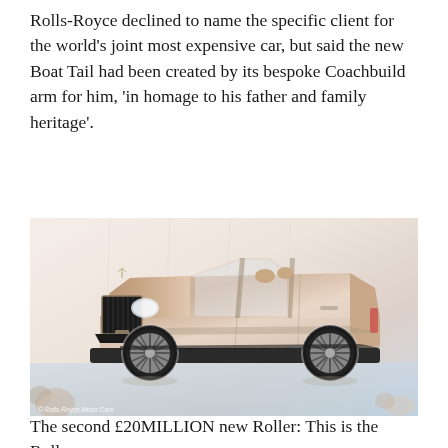Rolls-Royce declined to name the specific client for the world's joint most expensive car, but said the new Boat Tail had been created by its bespoke Coachbuild arm for him, 'in homage to his father and family heritage'.
[Figure (photo): A Rolls-Royce Boat Tail convertible in rose gold/blush pink and brown two-tone color scheme, photographed in a studio with a light, airy white background with floral elements. The car faces three-quarter front view showing the iconic Rolls-Royce grille, open top, and distinctive boat tail rear design.]
The second £20MILLION new Roller: This is the Rolls